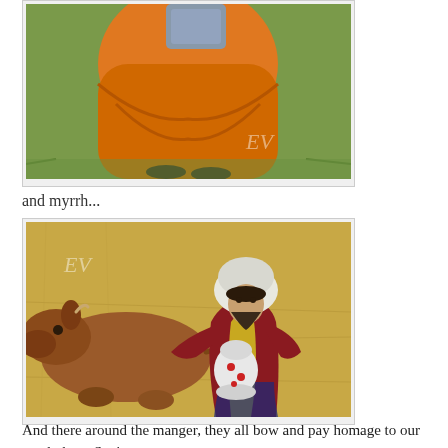[Figure (photo): Nativity scene figurine in orange robe kneeling on grass, partially cropped at top of page]
and myrrh...
[Figure (photo): Nativity scene figurine of wise man in red and gold robe with white turban, kneeling beside a brown cow/ox figurine on hay, holding a decorative jar]
And there around the manger, they all bow and pay homage to our newly born Savior...